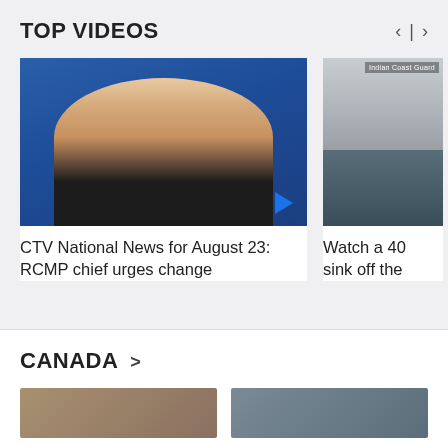TOP VIDEOS
[Figure (screenshot): Video thumbnail showing a female news anchor in white blazer against blue studio background with a blue play button in the bottom right corner]
CTV National News for August 23: RCMP chief urges change
[Figure (screenshot): Partially visible video thumbnail showing a boat sinking with Indian Coast Guard label visible in upper portion]
Watch a 40 sink off the
CANADA >
[Figure (screenshot): Two partially visible news thumbnail images at the bottom of the page in the Canada section]